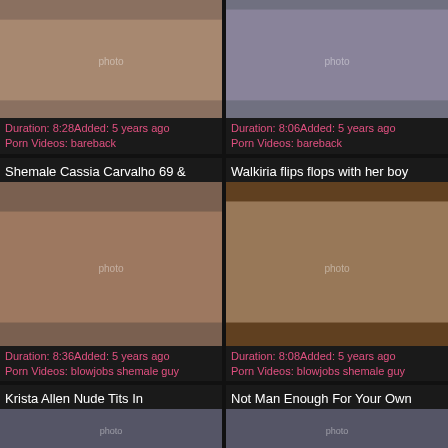[Figure (photo): Thumbnail image top-left]
Duration: 8:28Added: 5 years ago
Porn Videos: bareback
[Figure (photo): Thumbnail image top-right]
Duration: 8:06Added: 5 years ago
Porn Videos: bareback
Shemale Cassia Carvalho 69 &
Walkiria flips flops with her boy
[Figure (photo): Thumbnail image middle-left]
Duration: 8:36Added: 5 years ago
Porn Videos: blowjobs shemale guy
[Figure (photo): Thumbnail image middle-right]
Duration: 8:08Added: 5 years ago
Porn Videos: blowjobs shemale guy
Krista Allen Nude Tits In
Not Man Enough For Your Own
[Figure (photo): Thumbnail image bottom-left (partial)]
Duration: 3:56Added: 5 years ago
[Figure (photo): Thumbnail image bottom-right (partial)]
Duration: 10:58Added: 5 years ago